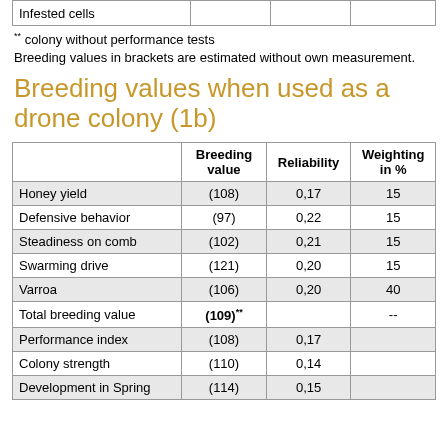|  |  |  |  |
| --- | --- | --- | --- |
| Infested cells |  |  |  |
** colony without performance tests
Breeding values in brackets are estimated without own measurement.
Breeding values when used as a drone colony (1b)
|  | Breeding value | Reliability | Weighting in % |
| --- | --- | --- | --- |
| Honey yield | (108) | 0,17 | 15 |
| Defensive behavior | (97) | 0,22 | 15 |
| Steadiness on comb | (102) | 0,21 | 15 |
| Swarming drive | (121) | 0,20 | 15 |
| Varroa | (106) | 0,20 | 40 |
| Total breeding value | (109)** |  | -- |
| Performance index | (108) | 0,17 |  |
| Colony strength | (110) | 0,14 |  |
| Development in Spring | (114) | 0,15 |  |